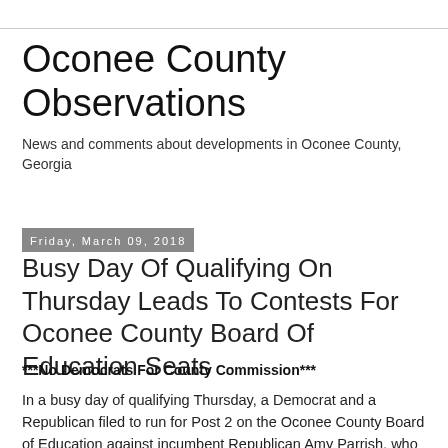Oconee County Observations
News and comments about developments in Oconee County, Georgia
Friday, March 09, 2018
Busy Day Of Qualifying On Thursday Leads To Contests For Oconee County Board Of Education Seats
***No Democrats For County Commission***
In a busy day of qualifying Thursday, a Democrat and a Republican filed to run for Post 2 on the Oconee County Board of Education against incumbent Republican Amy Parrish, who qualified on Tuesday.